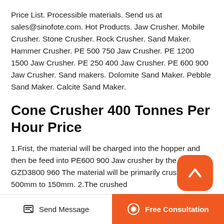Price List. Processible materials. Send us at sales@sinofote.com. Hot Products. Jaw Crusher. Mobile Crusher. Stone Crusher. Rock Crusher. Sand Maker. Hammer Crusher. PE 500 750 Jaw Crusher. PE 1200 1500 Jaw Crusher. PE 250 400 Jaw Crusher. PE 600 900 Jaw Crusher. Sand makers. Dolomite Sand Maker. Pebble Sand Maker. Calcite Sand Maker.
Cone Crusher 400 Tonnes Per Hour Price
1.Frist, the material will be charged into the hopper and then be feed into PE600 900 Jaw crusher by the feeder GZD3800 960 The material will be primarily crushed from 500mm to 150mm. 2.The crushed